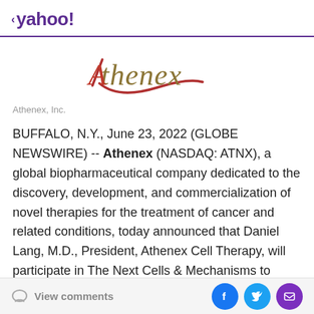< yahoo!
[Figure (logo): Athenex company logo with stylized red swoosh and gold/olive colored text reading 'Athenex']
Athenex, Inc.
BUFFALO, N.Y., June 23, 2022 (GLOBE NEWSWIRE) -- Athenex (NASDAQ: ATNX), a global biopharmaceutical company dedicated to the discovery, development, and commercialization of novel therapies for the treatment of cancer and related conditions, today announced that Daniel Lang, M.D., President, Athenex Cell Therapy, will participate in The Next Cells & Mechanisms to Watch in
View comments